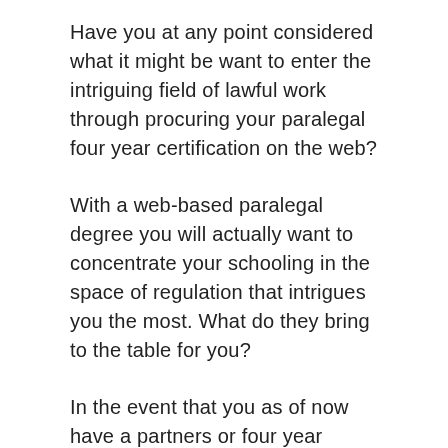Have you at any point considered what it might be want to enter the intriguing field of lawful work through procuring your paralegal four year certification on the web?
With a web-based paralegal degree you will actually want to concentrate your schooling in the space of regulation that intrigues you the most. What do they bring to the table for you?
In the event that you as of now have a partners or four year college education and have consistently held an interest in lawful examinations, then endeavoring to achieve a paralegal four year college education online might be the most ideal decision for you.